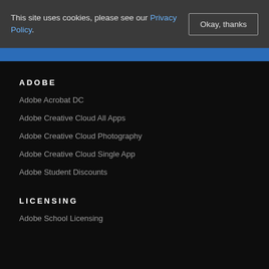This site uses cookies, please see our Privacy Policy.
Okay, thanks
ADOBE
Adobe Acrobat DC
Adobe Creative Cloud All Apps
Adobe Creative Cloud Photography
Adobe Creative Cloud Single App
Adobe Student Discounts
LICENSING
Adobe School Licensing